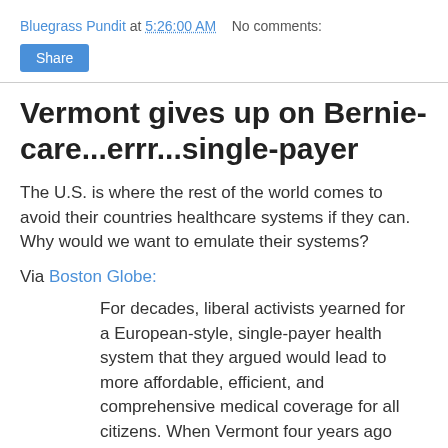Bluegrass Pundit at 5:26:00 AM    No comments:
Share
Vermont gives up on Bernie-care...errr...single-payer
The U.S. is where the rest of the world comes to avoid their countries healthcare systems if they can. Why would we want to emulate their systems?
Via Boston Globe:
For decades, liberal activists yearned for a European-style, single-payer health system that they argued would lead to more affordable, efficient, and comprehensive medical coverage for all citizens. When Vermont four years ago enacted a landmark bill to establish the nation's first single-payer health care system, they saw